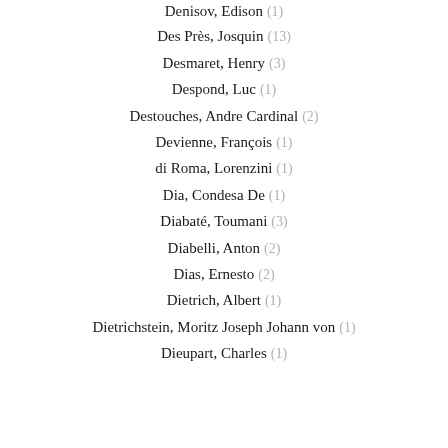Denisov, Edison (1)
Des Près, Josquin (13)
Desmaret, Henry (3)
Despond, Luc (1)
Destouches, Andre Cardinal (2)
Devienne, François (1)
di Roma, Lorenzini (1)
Dia, Condesa De (1)
Diabaté, Toumani (3)
Diabelli, Anton (2)
Dias, Ernesto (2)
Dietrich, Albert (1)
Dietrichstein, Moritz Joseph Johann von (1)
Dieupart, Charles (1)